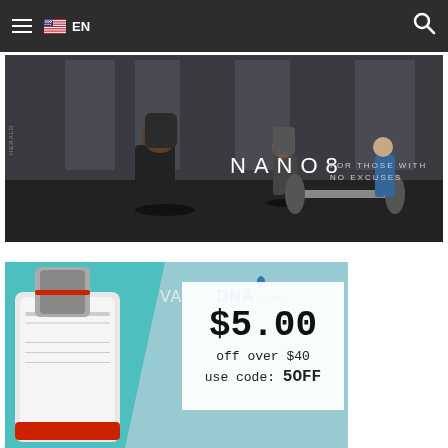≡ 🇺🇸 EN  🔍
[Figure (photo): Gym/workout photo showing people doing deadlifts and squats in a fitness facility. Text overlay reads 'NANO8 FOR THOSE WITH NO EXCUSES']
[Figure (photo): VaporDNA.com advertisement showing a vaping device (mod and tank) on a teal background with the VaporDNA.com logo. A white promo box overlays with '$5.00 off over $40 use code: 5OFF']